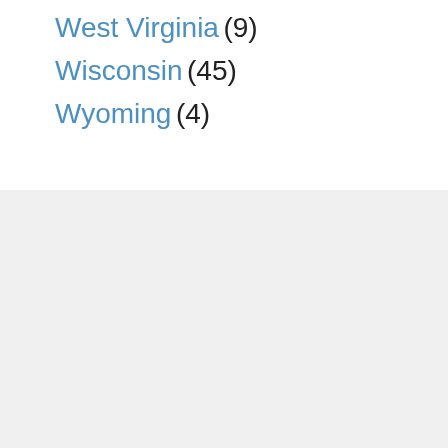West Virginia (9)
Wisconsin (45)
Wyoming (4)